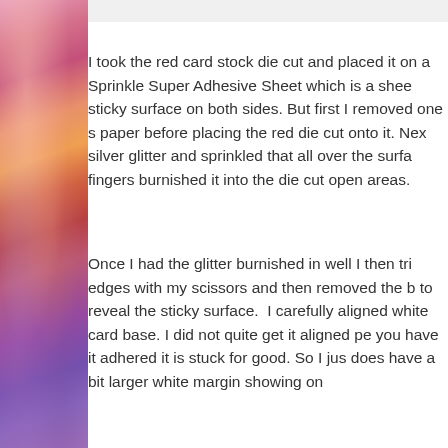[Figure (illustration): Colorful floral watercolor painting strip on the left side of the page, featuring orange, pink, red, purple and blue flower petals blended together.]
I took the red card stock die cut and placed it on a Sprinkle Super Adhesive Sheet which is a sheet with a sticky surface on both sides. But first I removed one side of the paper before placing the red die cut onto it. Next I took silver glitter and sprinkled that all over the surface and my fingers burnished it into the die cut open areas.
Once I had the glitter burnished in well I then trimmed the edges with my scissors and then removed the backing paper to reveal the sticky surface.  I carefully aligned it onto the white card base. I did not quite get it aligned perfectly, once you have it adhered it is stuck for good. So I just left it, it does have a bit larger white margin showing on